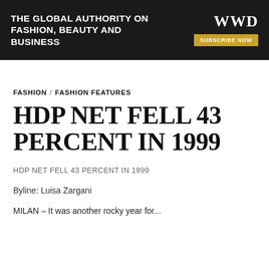[Figure (logo): WWD banner advertisement: black background with white bold text 'THE GLOBAL AUTHORITY ON FASHION, BEAUTY AND BUSINESS', WWD logo in white serif font top right, gold 'SUBSCRIBE NOW' button below logo]
FASHION / FASHION FEATURES
HDP NET FELL 43 PERCENT IN 1999
HDP NET FELL 43 PERCENT IN 1999
Byline: Luisa Zargani
MILAN – It was another rocky year for...